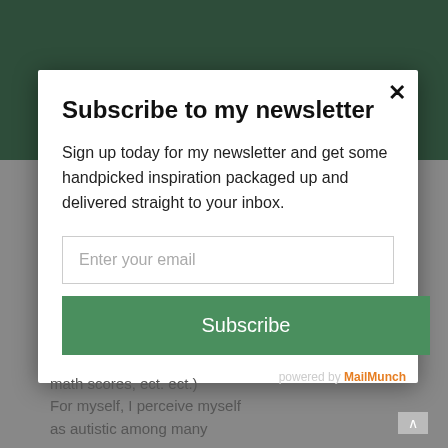Get highlights from the blog straight to your inbox
Subscribe to my newsletter
Sign up today for my newsletter and get some handpicked inspiration packaged up and delivered straight to your inbox.
Enter your email
Subscribe
powered by MailMunch
math scores, ect. ect.)
For myself, I perceive myself
as autistic among many